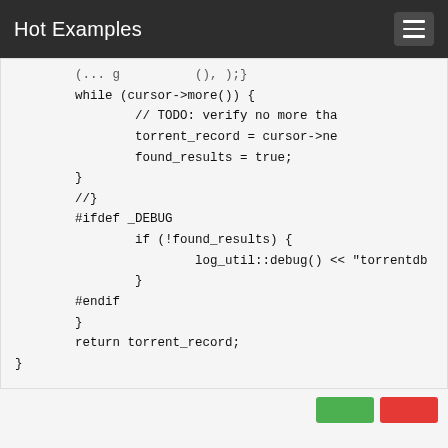Hot Examples
[Figure (screenshot): Code snippet showing C++ code with while loop, cursor operations, #ifdef _DEBUG block, and return statement]
[Figure (screenshot): Bottom panel with green and red buttons partially visible]